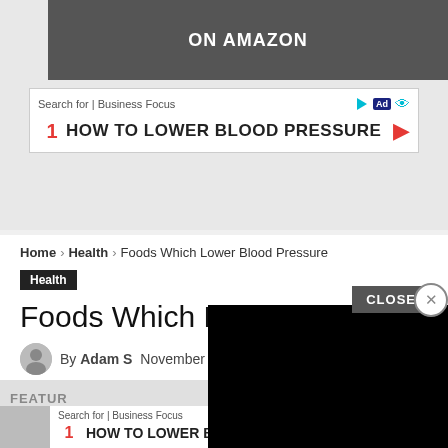[Figure (screenshot): Top advertisement banner showing 'ON AMAZON' text with a Business Focus ad for 'HOW TO LOWER BLOOD PRESSURE']
Home › Health › Foods Which Lower Blood Pressure
Health
Foods Which Lower Blood Pressure
By Adam S   November 2, 2021
[Figure (screenshot): Social share buttons: generic share, Facebook, Twitter, Pinterest, WhatsApp]
[Figure (screenshot): Black video overlay panel with X close button and CLOSE button]
FEATUR
[Figure (screenshot): Bottom advertisement strip: Business Focus ad for 'HOW TO LOWER BLOOD PRESSURE']